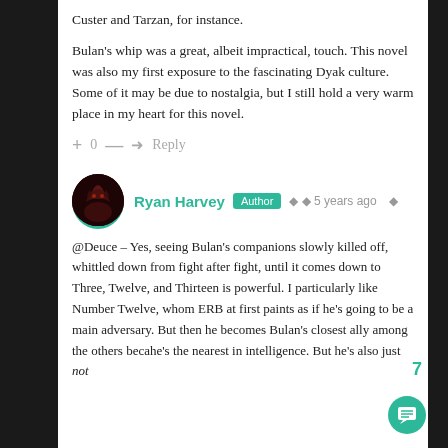Custer and Tarzan, for instance.
Bulan's whip was a great, albeit impractical, touch. This novel was also my first exposure to the fascinating Dyak culture. Some of it may be due to nostalgia, but I still hold a very warm place in my heart for this novel.
+ 0 — → Reply
Ryan Harvey Author 5 years ago
@Deuce – Yes, seeing Bulan's companions slowly killed off, whittled down from fight after fight, until it comes down to Three, Twelve, and Thirteen is powerful. I particularly like Number Twelve, whom ERB at first paints as if he's going to be a main adversary. But then he becomes Bulan's closest ally among the others because he's the nearest in intelligence. But he's also just not